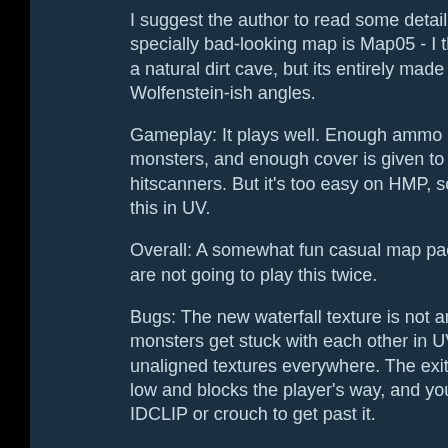I suggest the author to read some detailing guides. One specially bad-looking map is Map05 - I think it's supposed to be a natural dirt cave, but its entirely made of 90 degree Wolfenstein-ish angles.
Gameplay: It plays well. Enough ammo is given to deal with the monsters, and enough cover is given to fight against hitscanners. But it's too easy on HMP, so I recommend playing this in UV.
Overall: A somewhat fun casual map pack. But you probably are not going to play this twice.
Bugs: The new waterfall texture is not animated, and some monsters get stuck with each other in UV settings. There are unaligned textures everywhere. The exit sign at MAP04 is too low and blocks the player's way, and you must either use IDCLIP or crouch to get past it.
Urban Fire - ProcessingControl
Doom 2 - Boom Compatible - Solo Play - 3968936 bytes -
RSS